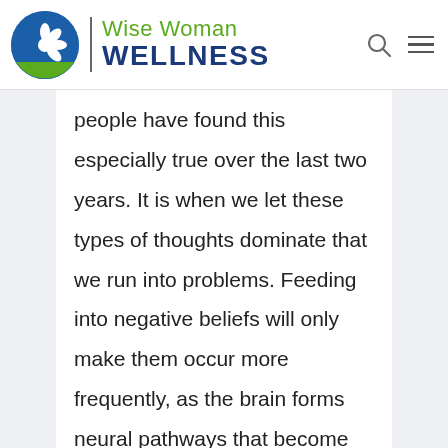Wise Woman WELLNESS
people have found this especially true over the last two years. It is when we let these types of thoughts dominate that we run into problems. Feeding into negative beliefs will only make them occur more frequently, as the brain forms neural pathways that become reinforced. The practice of